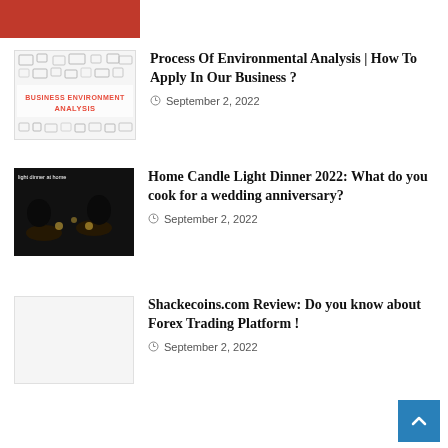[Figure (photo): Partial red image visible at top]
[Figure (photo): Business Environment Analysis thumbnail with icons and red text]
Process Of Environmental Analysis | How To Apply In Our Business ?
September 2, 2022
[Figure (photo): Dark photo of candle light dinner at home with text overlay 'light dinner at home']
Home Candle Light Dinner 2022: What do you cook for a wedding anniversary?
September 2, 2022
[Figure (photo): Blank/white thumbnail placeholder]
Shackecoins.com Review: Do you know about Forex Trading Platform !
September 2, 2022